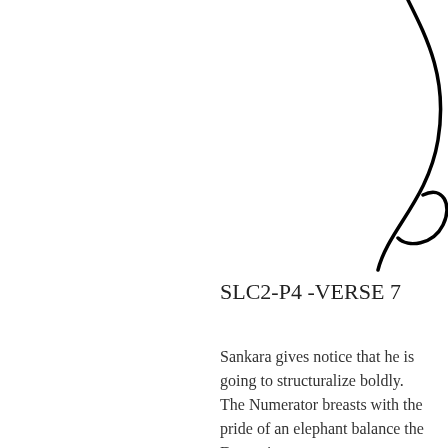[Figure (illustration): Partial decorative bracket or parenthesis curve in upper right corner — a large curved line with a small circle or letter C shape at the end, rendered in black on white background.]
SLC2-P4 -VERSE 7
Sankara gives notice that he is going to structuralize boldly. The Numerator breasts with the pride of an elephant balance the Denominator